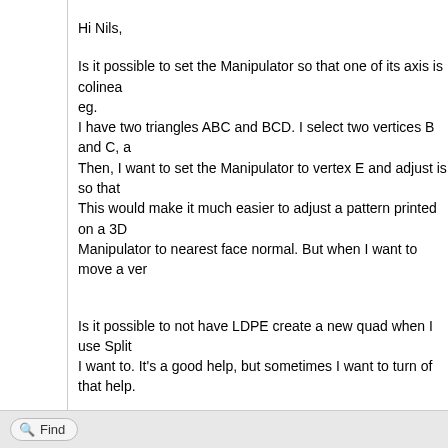Hi Nils,
Is it possible to set the Manipulator so that one of its axis is colinea eg.
I have two triangles ABC and BCD. I select two vertices B and C, a
Then, I want to set the Manipulator to vertex E and adjust is so that
This would make it much easier to adjust a pattern printed on a 3D
Manipulator to nearest face normal. But when I want to move a ver
Is it possible to not have LDPE create a new quad when I use Split
I want to. It's a good help, but sometimes I want to turn of that help.
Is it possible to not have the Special Cond.Line Mode also turn on t
I sometimes want to see were the condlines are when adjusting a p
And when I snap a vertex to a temporary guideline, the (unvisible) c
I don't want to add more condlines to a patterned part.
Find